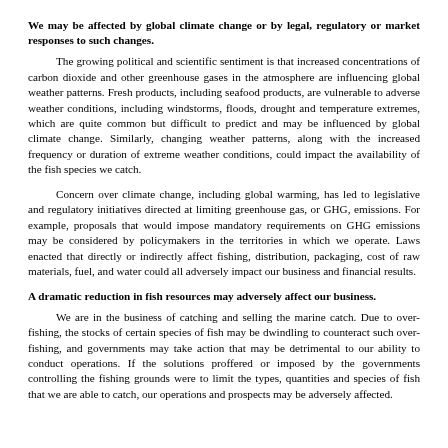We may be affected by global climate change or by legal, regulatory or market responses to such changes.
The growing political and scientific sentiment is that increased concentrations of carbon dioxide and other greenhouse gases in the atmosphere are influencing global weather patterns. Fresh products, including seafood products, are vulnerable to adverse weather conditions, including windstorms, floods, drought and temperature extremes, which are quite common but difficult to predict and may be influenced by global climate change. Similarly, changing weather patterns, along with the increased frequency or duration of extreme weather conditions, could impact the availability of the fish species we catch.
Concern over climate change, including global warming, has led to legislative and regulatory initiatives directed at limiting greenhouse gas, or GHG, emissions. For example, proposals that would impose mandatory requirements on GHG emissions may be considered by policymakers in the territories in which we operate. Laws enacted that directly or indirectly affect fishing, distribution, packaging, cost of raw materials, fuel, and water could all adversely impact our business and financial results.
A dramatic reduction in fish resources may adversely affect our business.
We are in the business of catching and selling the marine catch. Due to over-fishing, the stocks of certain species of fish may be dwindling to counteract such over-fishing, and governments may take action that may be detrimental to our ability to conduct operations. If the solutions proffered or imposed by the governments controlling the fishing grounds were to limit the types, quantities and species of fish that we are able to catch, our operations and prospects may be adversely affected.